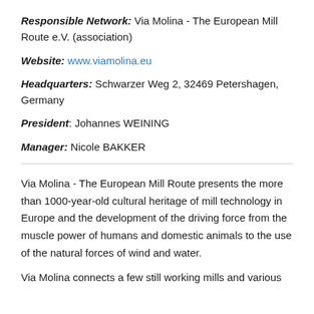Responsible Network: Via Molina - The European Mill Route e.V. (association)
Website: www.viamolina.eu
Headquarters: Schwarzer Weg 2, 32469 Petershagen, Germany
President: Johannes WEINING
Manager: Nicole BAKKER
Via Molina - The European Mill Route presents the more than 1000-year-old cultural heritage of mill technology in Europe and the development of the driving force from the muscle power of humans and domestic animals to the use of the natural forces of wind and water.
Via Molina connects a few still working mills and various